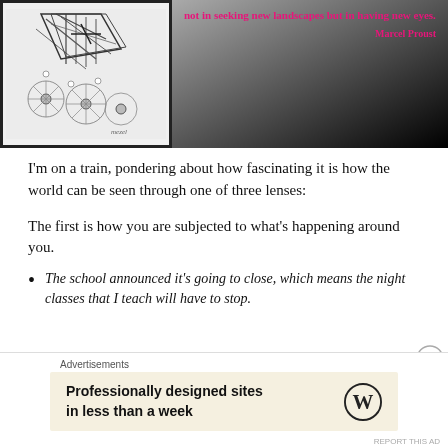[Figure (illustration): Pencil sketch drawing of abstract geometric shapes and circular flower-like forms, signed 'mezel' at bottom right]
not in seeking new landscapes but in having new eyes.
                                    Marcel Proust
I'm on a train, pondering about how fascinating it is how the world can be seen through one of three lenses:
The first is how you are subjected to what's happening around you.
The school announced it's going to close, which means the night classes that I teach will have to stop.
Advertisements
Professionally designed sites in less than a week